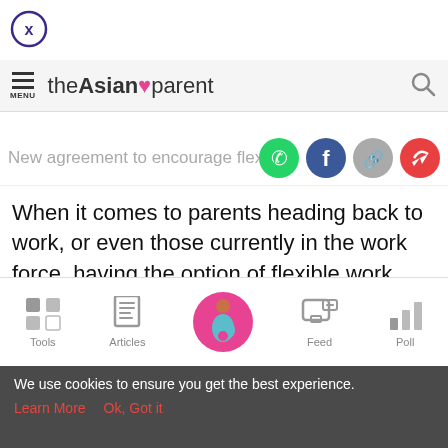[Figure (other): Circle close button with X icon in purple/dark outline]
theAsianparent — navigation header with menu icon, logo, and search icon
New agreement to encourage flexible
When it comes to parents heading back to work, or even those currently in the work force, having the option of flexible work arrangements can make a huge difference and also be a blessing to busy mums and dads, enabling them
Tools | Articles | [home] | Feed | Poll
We use cookies to ensure you get the best experience. Learn More  Ok, Got it